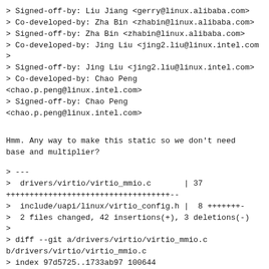> Signed-off-by: Liu Jiang <gerry@linux.alibaba.com>
> Co-developed-by: Zha Bin <zhabin@linux.alibaba.com>
> Signed-off-by: Zha Bin <zhabin@linux.alibaba.com>
> Co-developed-by: Jing Liu <jing2.liu@linux.intel.com>
> Signed-off-by: Jing Liu <jing2.liu@linux.intel.com>
> Co-developed-by: Chao Peng
<chao.p.peng@linux.intel.com>
> Signed-off-by: Chao Peng
<chao.p.peng@linux.intel.com>
Hmm. Any way to make this static so we don't need
base and multiplier?
> ---
>  drivers/virtio/virtio_mmio.c       | 37
+++++++++++++++++++++++++++++++++++--
>  include/uapi/linux/virtio_config.h |  8 +++++++- 
>  2 files changed, 42 insertions(+), 3 deletions(-)
>
> diff --git a/drivers/virtio/virtio_mmio.c
b/drivers/virtio/virtio_mmio.c
> index 97d5725..1733ab97 100644
> --- a/drivers/virtio/virtio_mmio.c
> +++ b/drivers/virtio/virtio_mmio.c
> @@ -90,6 +90,9 @@ struct virtio_mmio_device {
>       /* a list of queues so we can dispatch IRQs */
>       spinlock_t lock;
>       struct list_head virtqueues;
> +